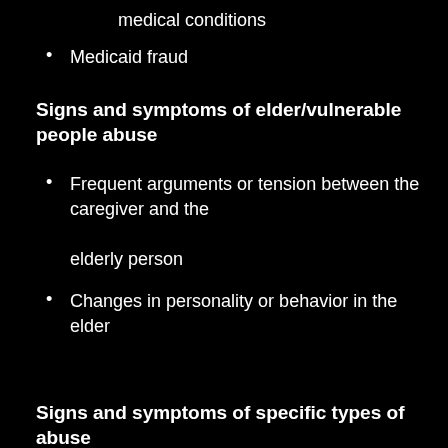medical conditions
Medicaid fraud
Signs and symptoms of elder/vulnerable people abuse
Frequent arguments or tension between the caregiver and the elderly person
Changes in personality or behavior in the elder
Signs and symptoms of specific types of abuse
Physical abuse
Unexplained signs of injury such as bruises, welts, or scars, especially if they appear symmetrically on two side of the body